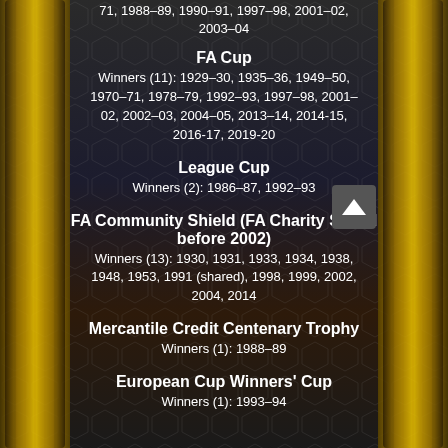71, 1988–89, 1990–91, 1997–98, 2001–02, 2003–04
FA Cup
Winners (11): 1929–30, 1935–36, 1949–50, 1970–71, 1978–79, 1992–93, 1997–98, 2001–02, 2002–03, 2004–05, 2013–14, 2014-15, 2016-17, 2019-20
League Cup
Winners (2): 1986–87, 1992–93
FA Community Shield (FA Charity Shield before 2002)
Winners (13): 1930, 1931, 1933, 1934, 1938, 1948, 1953, 1991 (shared), 1998, 1999, 2002, 2004, 2014
Mercantile Credit Centenary Trophy
Winners (1): 1988–89
European Cup Winners' Cup
Winners (1): 1993–94